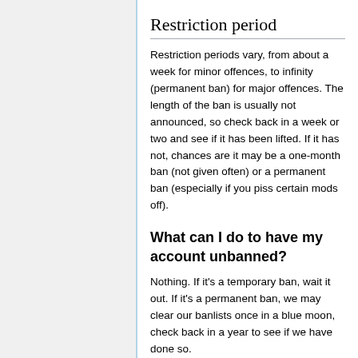Restriction period
Restriction periods vary, from about a week for minor offences, to infinity (permanent ban) for major offences. The length of the ban is usually not announced, so check back in a week or two and see if it has been lifted. If it has not, chances are it may be a one-month ban (not given often) or a permanent ban (especially if you piss certain mods off).
What can I do to have my account unbanned?
Nothing. If it's a temporary ban, wait it out. If it's a permanent ban, we may clear our banlists once in a blue moon, check back in a year to see if we have done so.